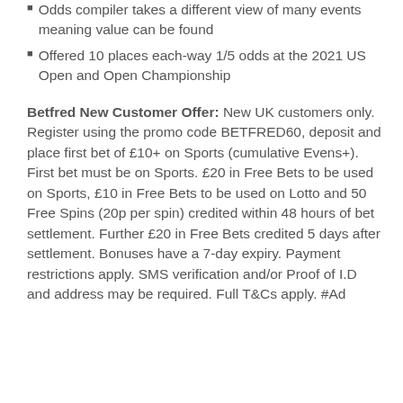Odds compiler takes a different view of many events meaning value can be found
Offered 10 places each-way 1/5 odds at the 2021 US Open and Open Championship
Betfred New Customer Offer: New UK customers only. Register using the promo code BETFRED60, deposit and place first bet of £10+ on Sports (cumulative Evens+). First bet must be on Sports. £20 in Free Bets to be used on Sports, £10 in Free Bets to be used on Lotto and 50 Free Spins (20p per spin) credited within 48 hours of bet settlement. Further £20 in Free Bets credited 5 days after settlement. Bonuses have a 7-day expiry. Payment restrictions apply. SMS verification and/or Proof of I.D and address may be required. Full T&Cs apply. #Ad